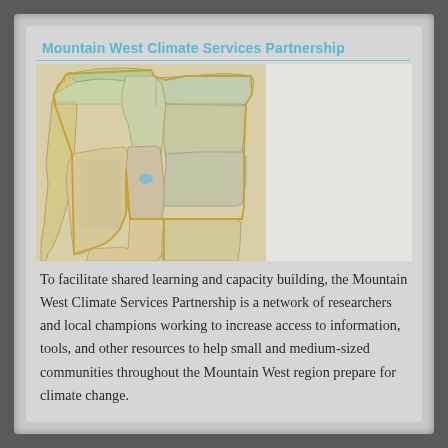Mountain West Climate Services Partnership
[Figure (map): Map of the western United States showing the Mountain West region with state boundaries outlined in gold/yellow, terrain shading in greens and tans, with a small blue lake visible in the center (Great Salt Lake area). States shown include Oregon, Washington, Idaho, Montana, Wyoming, Nevada, Utah, Colorado, Arizona, New Mexico, and parts of surrounding states.]
To facilitate shared learning and capacity building, the Mountain West Climate Services Partnership is a network of researchers and local champions working to increase access to information, tools, and other resources to help small and medium-sized communities throughout the Mountain West region prepare for climate change.